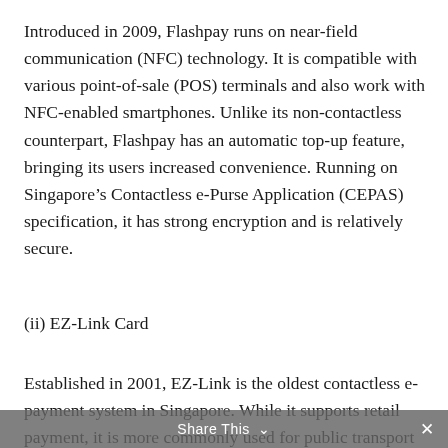Introduced in 2009, Flashpay runs on near-field communication (NFC) technology. It is compatible with various point-of-sale (POS) terminals and also work with NFC-enabled smartphones. Unlike its non-contactless counterpart, Flashpay has an automatic top-up feature, bringing its users increased convenience. Running on Singapore's Contactless e-Purse Application (CEPAS) specification, it has strong encryption and is relatively secure.
(ii) EZ-Link Card
Established in 2001, EZ-Link is the oldest contactless e-payment system in Singapore. While it supports retail payment, it is more commonly used for public transport